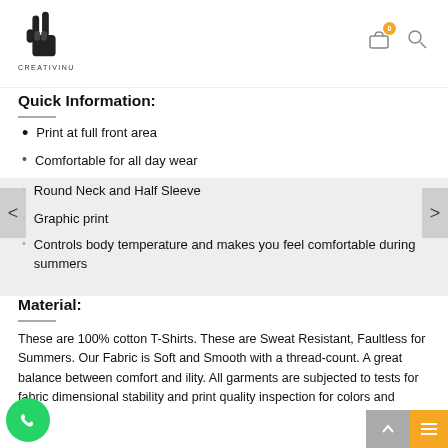CREATIVINU logo and navigation icons
Quick Information:
Print at full front area
Comfortable for all day wear
Round Neck and Half Sleeve
Graphic print
Controls body temperature and makes you feel comfortable during summers
Material:
These are 100% cotton T-Shirts. These are Sweat Resistant, Faultless for Summers. Our Fabric is Soft and Smooth with a thread-count. A great balance between comfort and ility. All garments are subjected to tests for fabric dimensional stability and print quality inspection for colors and